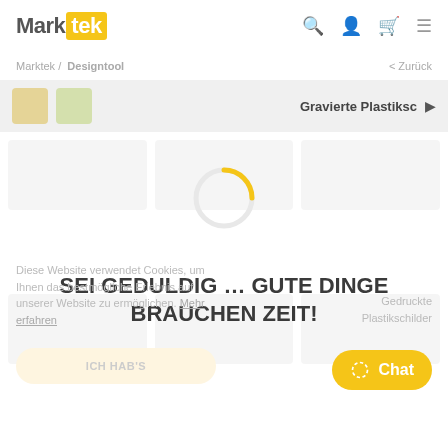Marktek
Marktek / Designtool  < Zurück
Gravierte Plastiksc ▶
[Figure (infographic): Loading spinner circle in orange/yellow color, indicating page is loading]
SEI GEDULDIG … GUTE DINGE BRAUCHEN ZEIT!
Diese Website verwendet Cookies, um Ihnen das bestmögliche Erlebnis auf unserer Website zu ermöglichen. Mehr erfahren
Gedruckte Plastikschilder
ICH HAB'S
Chat